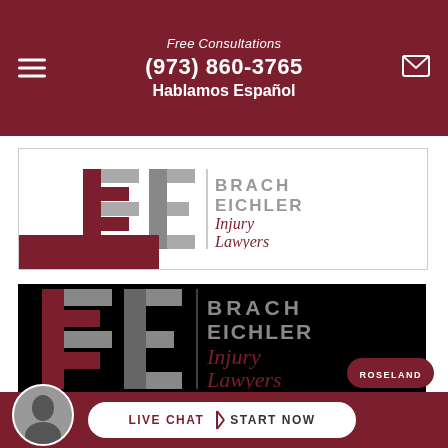Free Consultations
(973) 860-3765
Hablamos Español
[Figure (logo): Brach Eichler Injury Lawyers logo on white background]
[Figure (logo): Brach Eichler Injury Lawyers logo on black background]
ROSELAND
LIVE CHAT  START NOW